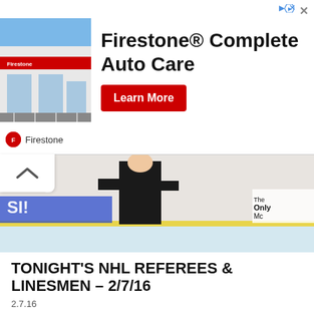[Figure (photo): Firestone Complete Auto Care advertisement banner showing a Firestone store building photo on the left, bold text 'Firestone® Complete Auto Care' in center, a red 'Learn More' button, and a small Firestone logo with name at bottom]
[Figure (photo): Partial top strip of a rink/arena photo showing a person in black standing on ice, with arena advertising boards and 'The Only' text visible]
TONIGHT'S NHL REFEREES & LINESMEN – 2/7/16
2.7.16
[Figure (photo): NHL hockey game photo showing Detroit Red Wings player in red jersey against a Boston Bruins player in white/gold jersey, pressed against the glass boards, with other players visible]